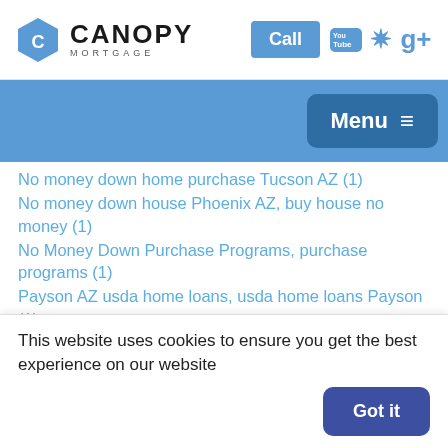[Figure (logo): Canopy Mortgage logo with hexagon icon, Call button, YouTube, Yelp, and Google+ social icons]
[Figure (screenshot): Blue navigation bar with Menu button and hamburger icon]
No money down home purchase Tucson AZ (1)
No money down house Phoenix AZ, buy house no money (1)
No Money Down Purchase Programs, purchase programs (1)
Payson AZ usda home loans, usda home loans Payson (1)
Peoria AZ HomeReady, Peoria AZ HomeReady loans, Pe (1)
This website uses cookies to ensure you get the best experience on our website